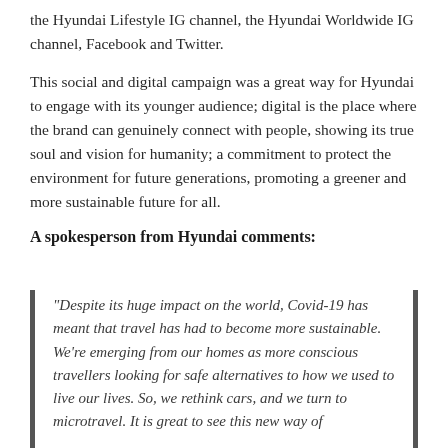the Hyundai Lifestyle IG channel, the Hyundai Worldwide IG channel, Facebook and Twitter.
This social and digital campaign was a great way for Hyundai to engage with its younger audience; digital is the place where the brand can genuinely connect with people, showing its true soul and vision for humanity; a commitment to protect the environment for future generations, promoting a greener and more sustainable future for all.
A spokesperson from Hyundai comments:
“Despite its huge impact on the world, Covid-19 has meant that travel has had to become more sustainable. We’re emerging from our homes as more conscious travellers looking for safe alternatives to how we used to live our lives. So, we rethink cars, and we turn to microtravel. It is great to see this new way of